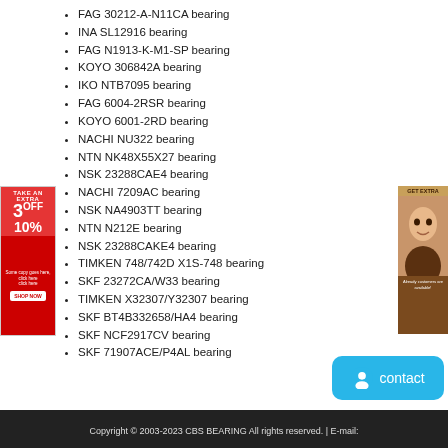FAG 30212-A-N11CA bearing
INA SL12916 bearing
FAG N1913-K-M1-SP bearing
KOYO 306842A bearing
IKO NTB7095 bearing
FAG 6004-2RSR bearing
KOYO 6001-2RD bearing
NACHI NU322 bearing
NTN NK48X55X27 bearing
NSK 23288CAE4 bearing
NACHI 7209AC bearing
NSK NA4903TT bearing
NTN N212E bearing
NSK 23288CAKE4 bearing
TIMKEN 748/742D X1S-748 bearing
SKF 23272CA/W33 bearing
TIMKEN X32307/Y32307 bearing
SKF BT4B332658/HA4 bearing
SKF NCF2917CV bearing
SKF 71907ACE/P4AL bearing
Copyright © 2003-2023 CBS BEARING All rights reserved. | E-mail: